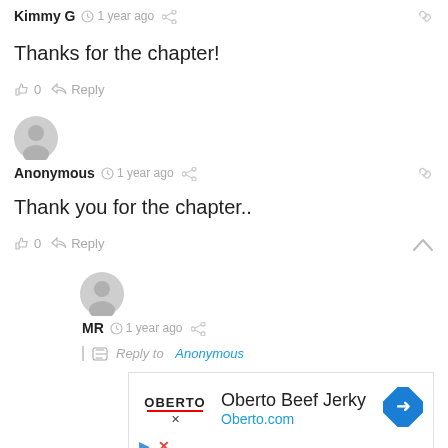Kimmy G  1 year ago
Thanks for the chapter!
0  Reply
Anonymous  1 year ago
Thank you for the chapter..
0  Reply
MR  1 year ago
Reply to Anonymous
[Figure (other): Oberto Beef Jerky advertisement with logo and Oberto.com URL]